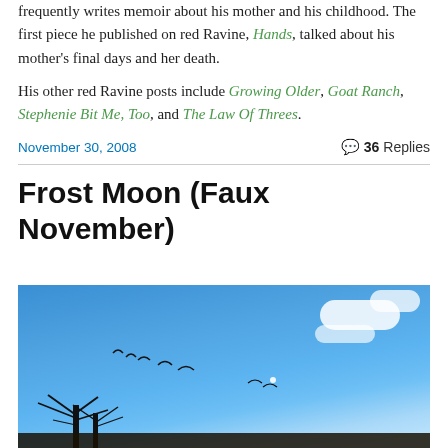frequently writes memoir about his mother and his childhood. The first piece he published on red Ravine, Hands, talked about his mother's final days and her death.
His other red Ravine posts include Growing Older, Goat Ranch, Stephenie Bit Me, Too, and The Law Of Threes.
November 30, 2008    36 Replies
Frost Moon (Faux November)
[Figure (photo): Blue sky with white clouds and bare tree branches silhouetted at the bottom, with birds visible in the sky.]